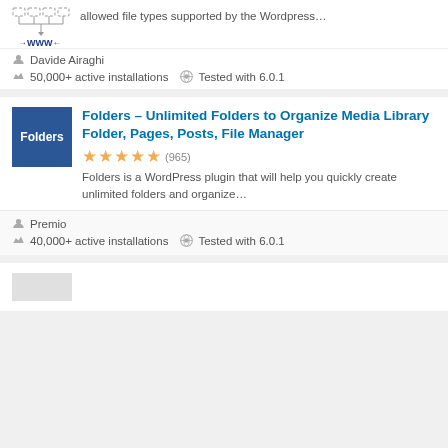[Figure (screenshot): Top partial plugin card showing WWW network diagram thumbnail and partial description text 'allowed file types supported by the Wordpress...']
Davide Airaghi
50,000+ active installations  Tested with 6.0.1
[Figure (photo): Folders plugin logo: blue square with white text 'Folders']
Folders – Unlimited Folders to Organize Media Library Folder, Pages, Posts, File Manager
(965)
Folders is a WordPress plugin that will help you quickly create unlimited folders and organize...
Premio
40,000+ active installations  Tested with 6.0.1